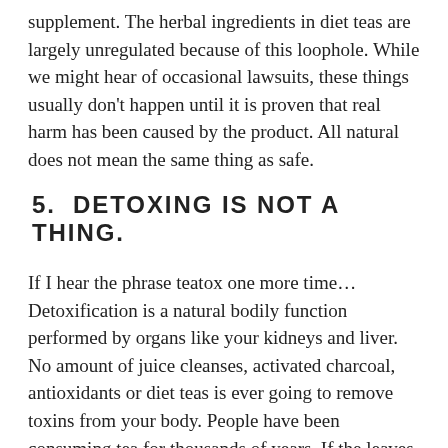supplement. The herbal ingredients in diet teas are largely unregulated because of this loophole. While we might hear of occasional lawsuits, these things usually don't happen until it is proven that real harm has been caused by the product. All natural does not mean the same thing as safe.
5.  DETOXING IS NOT A THING.
If I hear the phrase teatox one more time… Detoxification is a natural bodily function performed by organs like your kidneys and liver. No amount of juice cleanses, activated charcoal, antioxidants or diet teas is ever going to remove toxins from your body. People have been consuming tea for thousands of years. If the leaves held some secret property, wouldn't we have discovered it by now? Drink tea because you like the way it tastes. Drink tea because of how it makes you feel. Enjoy it connects us in so many ways to other human beings. Explore the